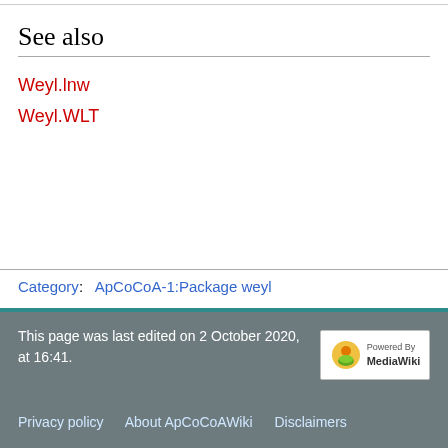See also
Weyl.lnw
Weyl.WLT
Category: ApCoCoA-1:Package weyl
This page was last edited on 2 October 2020, at 16:41.
Privacy policy   About ApCoCoAWiki   Disclaimers